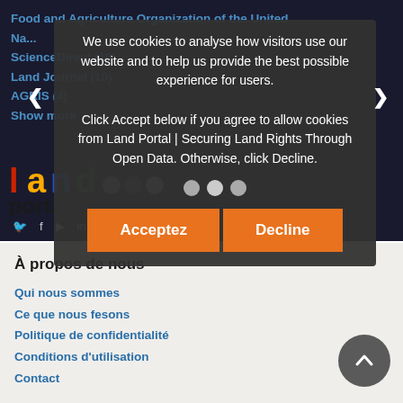Food and Agriculture Organization of the United Na...
ScienceDirect (19)
Land Journal (10)
AGRIS (4)
Show more
We use cookies to analyse how visitors use our website and to help us provide the best possible experience for users.

Click Accept below if you agree to allow cookies from Land Portal | Securing Land Rights Through Open Data. Otherwise, click Decline.
[Figure (logo): Land Portal logo with colorful letters spelling 'land' and 'portal' below]
À propos de nous
Qui nous sommes
Ce que nous fesons
Politique de confidentialité
Conditions d'utilisation
Contact